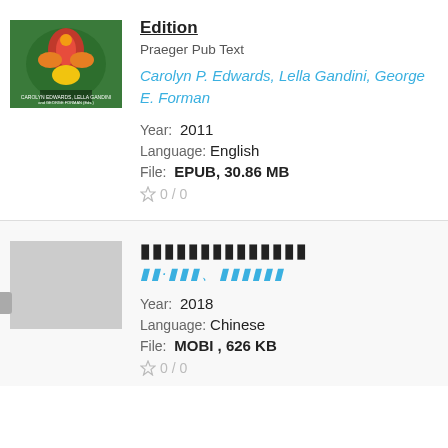[Figure (photo): Book cover thumbnail with colorful bird/floral design on green background]
Edition
Praeger Pub Text
Carolyn P. Edwards, Lella Gandini, George E. Forman
Year:  2011
Language:  English
File:  EPUB, 30.86 MB
0 / 0
[Chinese characters — title in Chinese]
[Chinese characters — author in Chinese]
Year:  2018
Language:  Chinese
File:  MOBI , 626 KB
0 / 0